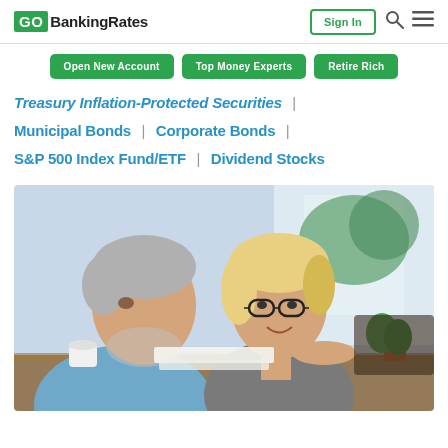GOBankingRates — Sign In
Open New Account | Top Money Experts | Retire Rich
Treasury Inflation-Protected Securities |
Municipal Bonds | Corporate Bonds |
S&P 500 Index Fund/ETF | Dividend Stocks
[Figure (photo): An older couple, a gray-haired man in a light blue shirt and a blonde woman with glasses, sitting at a table reviewing financial documents together, smiling, with a bright background featuring plants and natural light.]